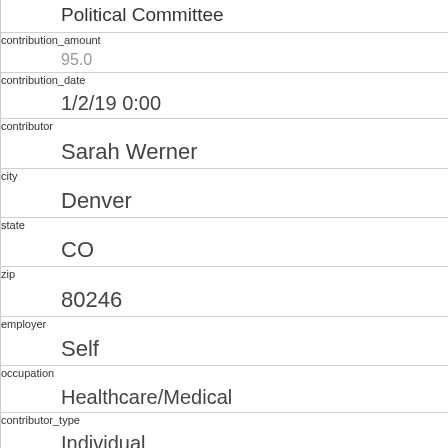| field | value |
| --- | --- |
| Political Committee |  |
| contribution_amount | 95.0 |
| contribution_date | 1/2/19 0:00 |
| contributor | Sarah  Werner |
| city | Denver |
| state | CO |
| zip | 80246 |
| employer | Self |
| occupation | Healthcare/Medical |
| contributor_type | Individual |
| contribution_type | Monetary (Itemized) |